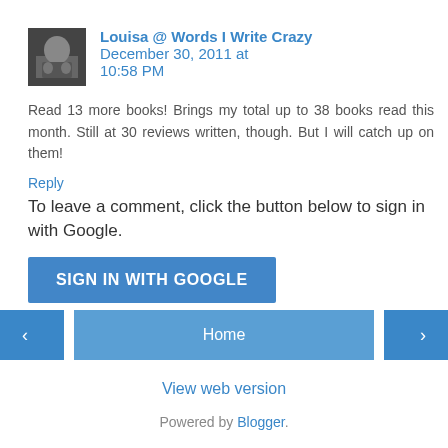[Figure (photo): Small avatar photo of a person, dark background]
Louisa @ Words I Write Crazy December 30, 2011 at 10:58 PM
Read 13 more books! Brings my total up to 38 books read this month. Still at 30 reviews written, though. But I will catch up on them!
Reply
To leave a comment, click the button below to sign in with Google.
SIGN IN WITH GOOGLE
Home
View web version
Powered by Blogger.